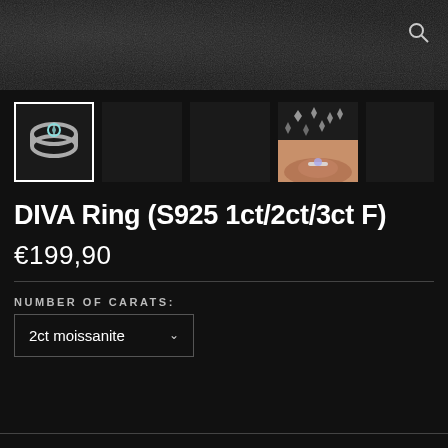[Figure (photo): Dark grainy textured background banner with a search icon (magnifying glass) in the top-right corner]
[Figure (photo): Product thumbnail gallery showing: (1) silver ring with stone on dark background (selected/active), (2) dark placeholder, (3) dark placeholder, (4) composite photo with diamond crystals on top and hand wearing ring on bottom]
DIVA Ring (S925 1ct/2ct/3ct F)
€199,90
NUMBER OF CARATS:
2ct moissanite